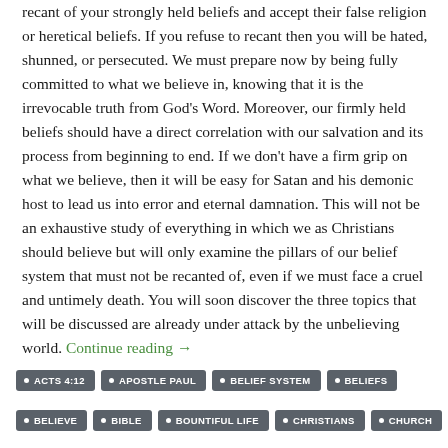recant of your strongly held beliefs and accept their false religion or heretical beliefs. If you refuse to recant then you will be hated, shunned, or persecuted. We must prepare now by being fully committed to what we believe in, knowing that it is the irrevocable truth from God's Word. Moreover, our firmly held beliefs should have a direct correlation with our salvation and its process from beginning to end. If we don't have a firm grip on what we believe, then it will be easy for Satan and his demonic host to lead us into error and eternal damnation. This will not be an exhaustive study of everything in which we as Christians should believe but will only examine the pillars of our belief system that must not be recanted of, even if we must face a cruel and untimely death. You will soon discover the three topics that will be discussed are already under attack by the unbelieving world. Continue reading →
ACTS 4:12
APOSTLE PAUL
BELIEF SYSTEM
BELIEFS
BELIEVE
BIBLE
BOUNTIFUL LIFE
CHRISTIANS
CHURCH